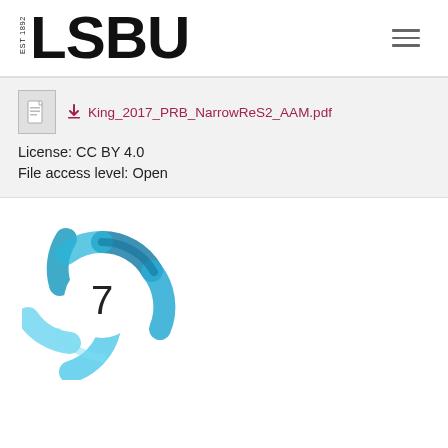[Figure (logo): LSBU (London South Bank University) logo with EST 1892 text and bold LSBU wordmark]
King_2017_PRB_NarrowReS2_AAM.pdf
License: CC BY 4.0
File access level: Open
[Figure (infographic): Altmetric donut badge showing score of 7, rendered as a blue swirling ring with white center containing the number 7]